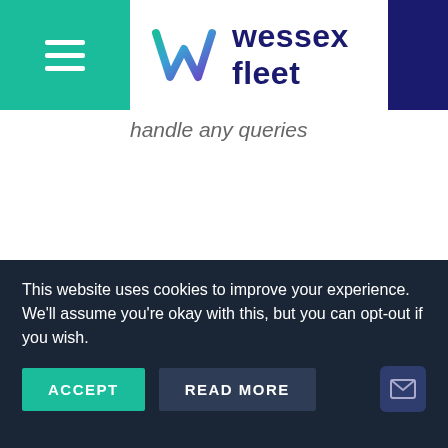[Figure (logo): Wessex Fleet logo with stylized W in teal-to-purple gradient and dark blue text 'wessex fleet']
handle any queries
OUR PARTNERS
[Figure (other): Partner card placeholder boxes partially visible]
This website uses cookies to improve your experience. We'll assume you're okay with this, but you can opt-out if you wish.
ACCEPT
READ MORE